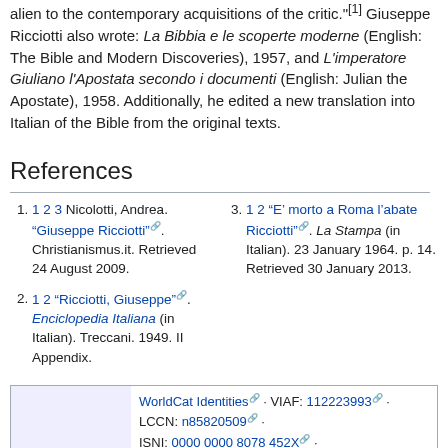alien to the contemporary acquisitions of the critic."[1] Giuseppe Ricciotti also wrote: La Bibbia e le scoperte moderne (English: The Bible and Modern Discoveries), 1957, and L'imperatore Giuliano l'Apostata secondo i documenti (English: Julian the Apostate), 1958. Additionally, he edited a new translation into Italian of the Bible from the original texts.
References
1 2 3 Nicolotti, Andrea. "Giuseppe Ricciotti". Christianismus.it. Retrieved 24 August 2009.
1 2 "Ricciotti, Giuseppe". Enciclopedia Italiana (in Italian). Treccani. 1949. II Appendix.
1 2 "E' morto a Roma l'abate Ricciotti". La Stampa (in Italian). 23 January 1964. p. 14. Retrieved 30 January 2013.
| Authority control | WorldCat Identities · VIAF: 112223993 · LCCN: n85820509 · ISNI: 0000 0000 8078 452X · SUDOC: 031773338 · |
| --- | --- |